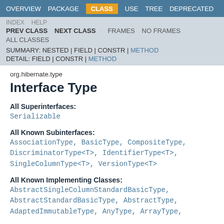OVERVIEW   PACKAGE   CLASS   USE   TREE   DEPRECATED
INDEX   HELP   PREV CLASS   NEXT CLASS   FRAMES   NO FRAMES   ALL CLASSES
SUMMARY: NESTED | FIELD | CONSTR | METHOD   DETAIL: FIELD | CONSTR | METHOD
org.hibernate.type
Interface Type
All Superinterfaces:
Serializable
All Known Subinterfaces:
AssociationType, BasicType, CompositeType, DiscriminatorType<T>, IdentifierType<T>, SingleColumnType<T>, VersionType<T>
All Known Implementing Classes:
AbstractSingleColumnStandardBasicType, AbstractStandardBasicType, AbstractType, AdaptedImmutableType, AnyType, ArrayType,